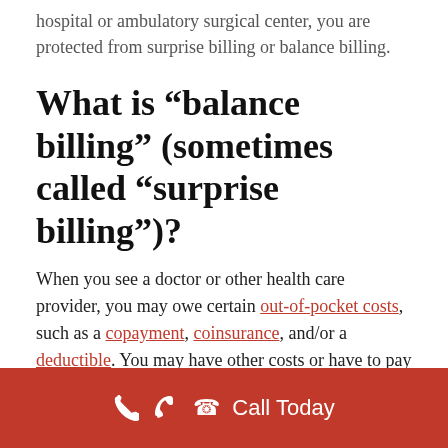hospital or ambulatory surgical center, you are protected from surprise billing or balance billing.
What is “balance billing” (sometimes called “surprise billing”)?
When you see a doctor or other health care provider, you may owe certain out-of-pocket costs, such as a copayment, coinsurance, and/or a deductible. You may have other costs or have to pay the entire bill if you see a provider or visit a health care facility that isn’t in your health
Call Today